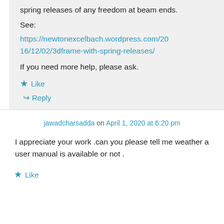spring releases of any freedom at beam ends.
See:
https://newtonexcelbach.wordpress.com/2016/12/02/3dframe-with-spring-releases/
If you need more help, please ask.
Like
Reply
jawadcharsadda on April 1, 2020 at 6:20 pm
I appreciate your work .can you please tell me weather a user manual is available or not .
Like